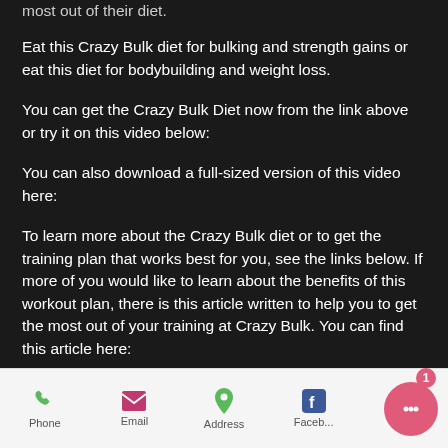most out of their diet.
Eat this Crazy Bulk diet for bulking and strength gains or eat this diet for bodybuilding and weight loss.
You can get the Crazy Bulk Diet now from the link above or try it on this video below:
You can also download a full-sized version of this video here:
To learn more about the Crazy Bulk diet or to get the training plan that works best for you, see the links below. If more of you would like to learn about the benefits of this workout plan, there is this article written to help you to get the most out of your training at Crazy Bulk. You can find this article here:
Phone  Email  Address  Faceb...  Twitter